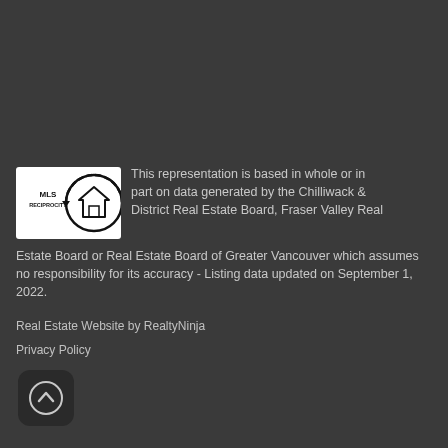[Figure (logo): MLS Reciprocity logo — circular icon with a house silhouette and arrows, with 'MLS RECIPROCITY' text]
This representation is based in whole or in part on data generated by the Chilliwack & District Real Estate Board, Fraser Valley Real Estate Board or Real Estate Board of Greater Vancouver which assumes no responsibility for its accuracy - Listing data updated on September 1, 2022.
Real Estate Website by RealtyNinja
Privacy Policy
[Figure (illustration): Scroll-to-top button: dark rounded square with an upward arrow icon]